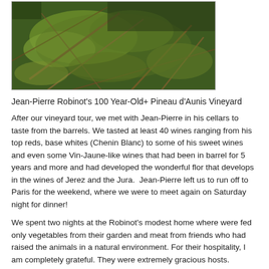[Figure (photo): Close-up photo of green moss and dry twigs/vines on the ground, likely in a vineyard]
Jean-Pierre Robinot's 100 Year-Old+ Pineau d'Aunis Vineyard
After our vineyard tour, we met with Jean-Pierre in his cellars to taste from the barrels. We tasted at least 40 wines ranging from his top reds, base whites (Chenin Blanc) to some of his sweet wines and even some Vin-Jaune-like wines that had been in barrel for 5 years and more and had developed the wonderful flor that develops in the wines of Jerez and the Jura.  Jean-Pierre left us to run off to Paris for the weekend, where we were to meet again on Saturday night for dinner!
We spent two nights at the Robinot's modest home where were fed only vegetables from their garden and meat from friends who had raised the animals in a natural environment. For their hospitality, I am completely grateful. They were extremely gracious hosts. Simple, yet complex people who truly lived off the land and who enjoyed every moment.
My final thoughts about the wines of Robinot are that his wines are dark, haunting, complex, while maintaining a certain freshness and drinkability which I find too many wines lack.  His wines are not easy to understand and